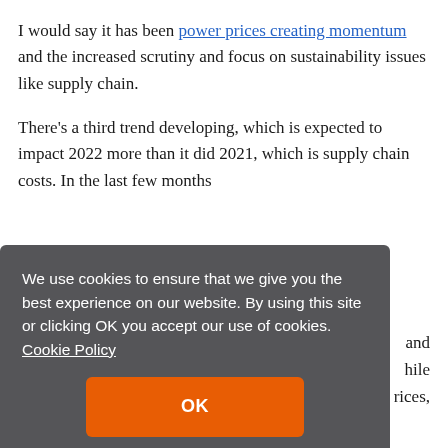I would say it has been power prices creating momentum and the increased scrutiny and focus on sustainability issues like supply chain.
There's a third trend developing, which is expected to impact 2022 more than it did 2021, which is supply chain costs. In the last few months
[Figure (screenshot): Cookie consent popup overlay with dark grey background. Text reads: 'We use cookies to ensure that we give you the best experience on our website. By using this site or clicking OK you accept our use of cookies. Cookie Policy' with an orange OK button.]
specialty panel costs that we're currently seeing in